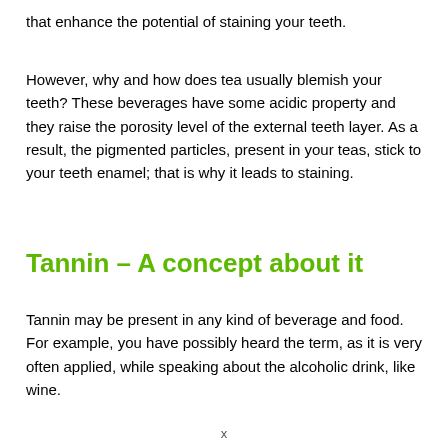that enhance the potential of staining your teeth.
However, why and how does tea usually blemish your teeth? These beverages have some acidic property and they raise the porosity level of the external teeth layer. As a result, the pigmented particles, present in your teas, stick to your teeth enamel; that is why it leads to staining.
Tannin – A concept about it
Tannin may be present in any kind of beverage and food. For example, you have possibly heard the term, as it is very often applied, while speaking about the alcoholic drink, like wine.
x